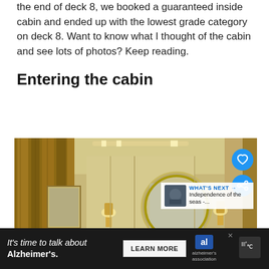the end of deck 8, we booked a guaranteed inside cabin and ended up with the lowest grade category on deck 8. Want to know what I thought of the cabin and see lots of photos? Keep reading.
Entering the cabin
[Figure (photo): Interior photo of a cruise ship cabin showing a double bed with white pillows and dark runner, round mirror on the wall, wall sconces, patterned curtains, and beige/gold walls. Icons for like (heart) and share are visible on the right side. A 'What's Next' overlay shows Independence of the Seas thumbnail.]
It's time to talk about Alzheimer's. LEARN MORE [Alzheimer's Association logo]